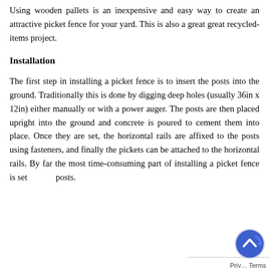Using wooden pallets is an inexpensive and easy way to create an attractive picket fence for your yard. This is also a great great recycled-items project.
Installation
The first step in installing a picket fence is to insert the posts into the ground. Traditionally this is done by digging deep holes (usually 36in x 12in) either manually or with a power auger. The posts are then placed upright into the ground and concrete is poured to cement them into place. Once they are set, the horizontal rails are affixed to the posts using fasteners, and finally the pickets can be attached to the horizontal rails. By far the most time-consuming part of installing a picket fence is setting the posts.
[Figure (other): Back-to-top navigation button overlay with blue circular arrow icon and Privacy/Terms text]